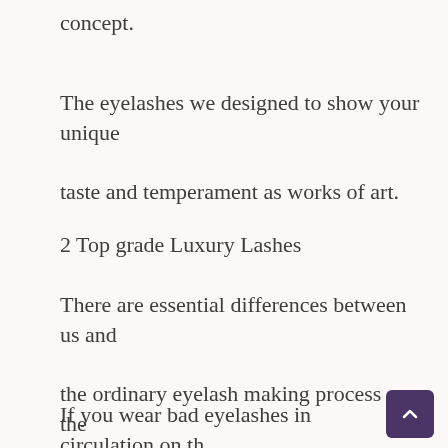concept.
The eyelashes we designed to show your unique taste and temperament as works of art.
2 Top grade Luxury Lashes
There are essential differences between us and the ordinary eyelash making process on the market.
If you wear bad eyelashes in circulation on th